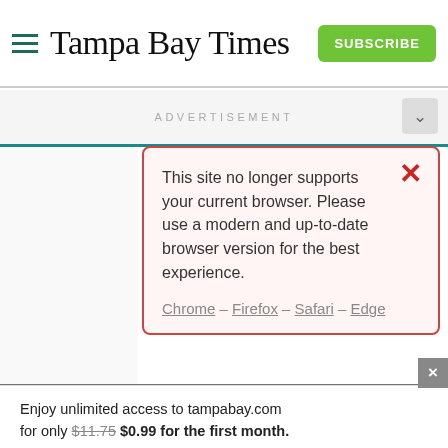Tampa Bay Times
ADVERTISEMENT
This site no longer supports your current browser. Please use a modern and up-to-date browser version for the best experience.
Chrome – Firefox – Safari – Edge
Enjoy unlimited access to tampabay.com for only $11.75 $0.99 for the first month.
Subscribe
Log In
Interested in print delivery? Subscribe here →
My reaction depends on whether I'm alone or with others. If alone, I walk out without a word or stay and lecture the